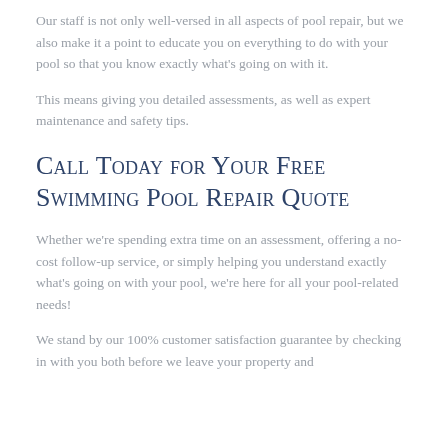Our staff is not only well-versed in all aspects of pool repair, but we also make it a point to educate you on everything to do with your pool so that you know exactly what's going on with it.
This means giving you detailed assessments, as well as expert maintenance and safety tips.
Call Today for Your Free Swimming Pool Repair Quote
Whether we're spending extra time on an assessment, offering a no-cost follow-up service, or simply helping you understand exactly what's going on with your pool, we're here for all your pool-related needs!
We stand by our 100% customer satisfaction guarantee by checking in with you both before we leave your property and